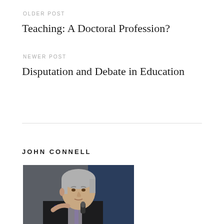OLDER POST
Teaching: A Doctoral Profession?
NEWER POST
Disputation and Debate in Education
JOHN CONNELL
[Figure (photo): Photo of John Connell, an older man with grey hair wearing a dark suit, holding glasses and speaking near a microphone against a blue/grey background.]